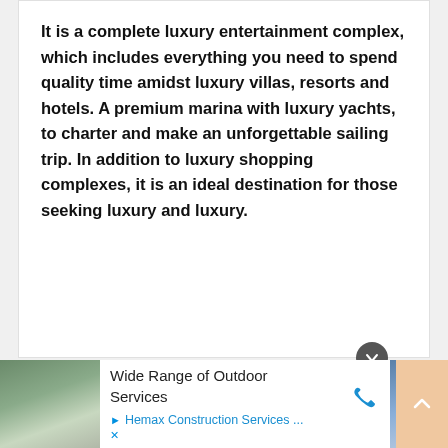It is a complete luxury entertainment complex, which includes everything you need to spend quality time amidst luxury villas, resorts and hotels. A premium marina with luxury yachts, to charter and make an unforgettable sailing trip. In addition to luxury shopping complexes, it is an ideal destination for those seeking luxury and luxury.
[Figure (other): Advertisement banner: Wide Range of Outdoor Services — Hemax Construction Services ... with phone icon and landscape images on left and right.]